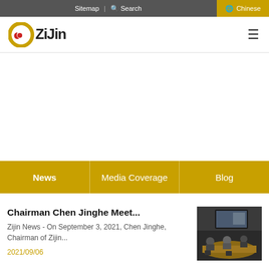Sitemap | Search | Chinese
[Figure (logo): Zijin Mining logo with golden circular swirl and red dot, text 'ZiJin' in stylized font]
News | Media Coverage | Blog
Chairman Chen Jinghe Meet...
Zijin News - On September 3, 2021, Chen Jinghe, Chairman of Zijin...
2021/09/06
[Figure (photo): People sitting at a conference room table with a large screen showing a video call]